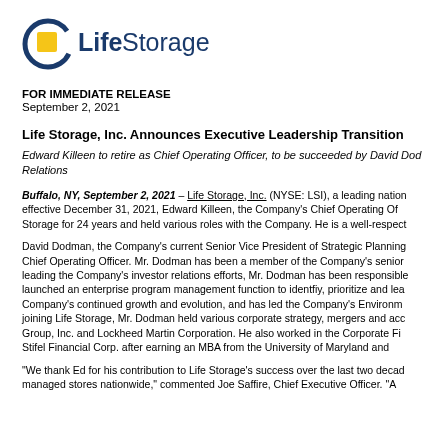[Figure (logo): Life Storage logo with yellow square icon and circular blue arc, text reads 'Life Storage']
FOR IMMEDIATE RELEASE
September 2, 2021
Life Storage, Inc. Announces Executive Leadership Transition
Edward Killeen to retire as Chief Operating Officer, to be succeeded by David Dodman, currently SVP of Strategic Planning and Investor Relations
Buffalo, NY, September 2, 2021 – Life Storage, Inc. (NYSE: LSI), a leading nationally-recognized brand in the self-storage industry, announced today that effective December 31, 2021, Edward Killeen, the Company's Chief Operating Officer, will retire. Mr. Killeen has served Life Storage for 24 years and held various roles with the Company. He is a well-respected leader in the industry.
David Dodman, the Company's current Senior Vice President of Strategic Planning and Investor Relations, will be promoted to Chief Operating Officer. Mr. Dodman has been a member of the Company's senior leadership team since 2016. In addition to leading the Company's investor relations efforts, Mr. Dodman has been responsible for various strategic company initiatives. He has launched an enterprise program management function to identfiy, prioritize and lead strategic initiatives that are critical to the Company's continued growth and evolution, and has led the Company's Environmental, Social and Governance efforts. Prior to joining Life Storage, Mr. Dodman held various corporate strategy, mergers and acquisitions and operations roles at Danaher Group, Inc. and Lockheed Martin Corporation. He also worked in the Corporate Finance and Investment Banking divisions at Stifel Financial Corp. after earning an MBA from the University of Maryland and
"We thank Ed for his contribution to Life Storage's success over the last two decades of operating more than 900 managed stores nationwide," commented Joe Saffire, Chief Executive Officer. "A